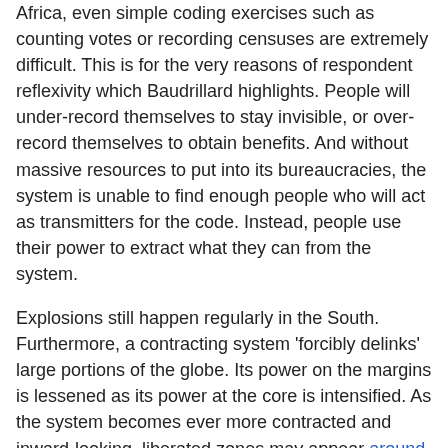Africa, even simple coding exercises such as counting votes or recording censuses are extremely difficult. This is for the very reasons of respondent reflexivity which Baudrillard highlights. People will under-record themselves to stay invisible, or over-record themselves to obtain benefits. And without massive resources to put into its bureaucracies, the system is unable to find enough people who will act as transmitters for the code. Instead, people use their power to extract what they can from the system.
Explosions still happen regularly in the South. Furthermore, a contracting system 'forcibly delinks' large portions of the globe. Its power on the margins is lessened as its power at the core is intensified. As the system becomes ever more contracted and inward-looking, liberated zones may appear around the edges.
Without an element of border thinking, Baudrillard tends to exaggerate the system's completeness and effectiveness. Baudrillard assumes that any excess is everywhere absorbed into the code. However, the resistance of...